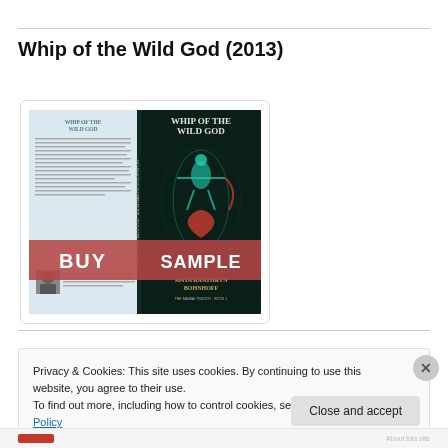Whip of the Wild God (2013)
[Figure (illustration): Book cover image showing front and back covers of 'Whip of the Wild God'. Left side shows light blue back cover with text, right side shows dark teal front cover with a glowing figure and the title 'WHIP OF THE WILD GOD'. A pink/red banner across the middle reads 'BUY' on the left and 'SAMPLE' on the right.]
Privacy & Cookies: This site uses cookies. By continuing to use this website, you agree to their use.
To find out more, including how to control cookies, see here: Cookie Policy
Close and accept